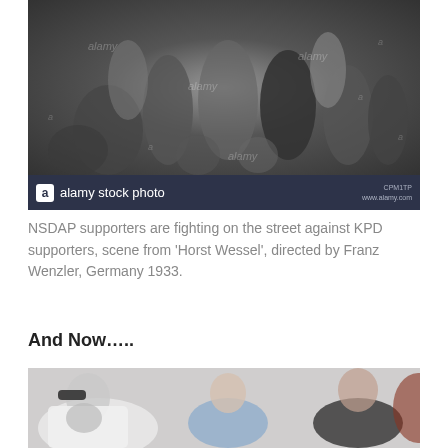[Figure (photo): Black and white photograph of a street brawl crowd scene with Alamy stock photo watermark and branding bar at bottom showing 'alamy stock photo' and code 'CPM1TP www.alamy.com']
NSDAP supporters are fighting on the street against KPD supporters, scene from 'Horst Wessel', directed by Franz Wenzler, Germany 1933.
And Now.....
[Figure (photo): Color photograph of people in a street altercation, partially visible, modern day scene]